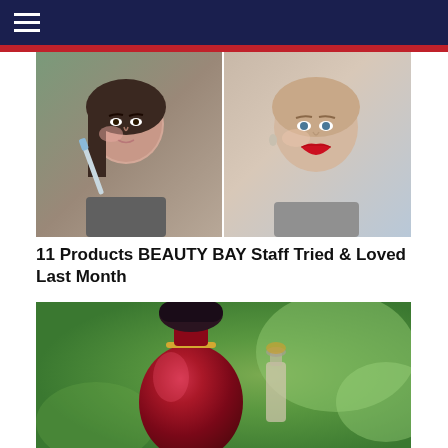[Figure (photo): Two women using beauty products — left woman applies something to her face with a brush, right woman shows bold red lipstick]
11 Products BEAUTY BAY Staff Tried & Loved Last Month
[Figure (photo): Red perfume bottle with dark cap against a blurred green background, with another perfume bottle partially visible]